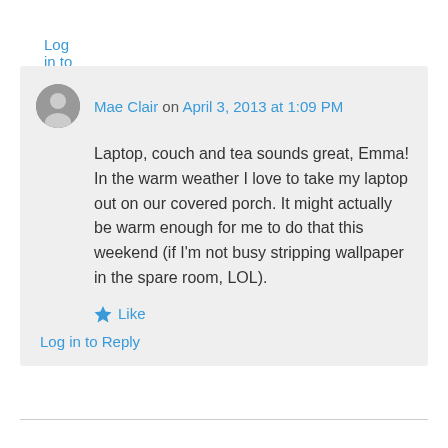Log in to Reply
Mae Clair on April 3, 2013 at 1:09 PM
Laptop, couch and tea sounds great, Emma! In the warm weather I love to take my laptop out on our covered porch. It might actually be warm enough for me to do that this weekend (if I'm not busy stripping wallpaper in the spare room, LOL).
Like
Log in to Reply